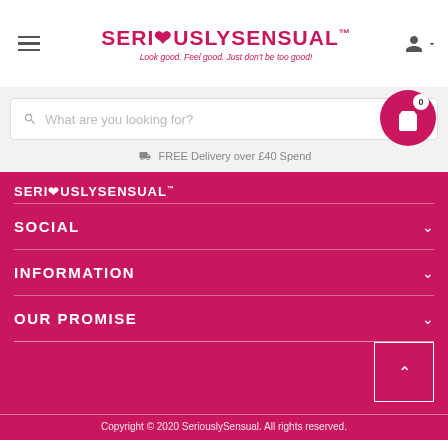SERIOUSLYSENSUAL™ — Look good. Feel good. Just don't be too good!
What are you looking for?
FREE Delivery over £40 Spend
SERIOUSLYSENSUAL™
SOCIAL
INFORMATION
OUR PROMISE
Copyright © 2020 SeriouslySensual. All rights reserved.